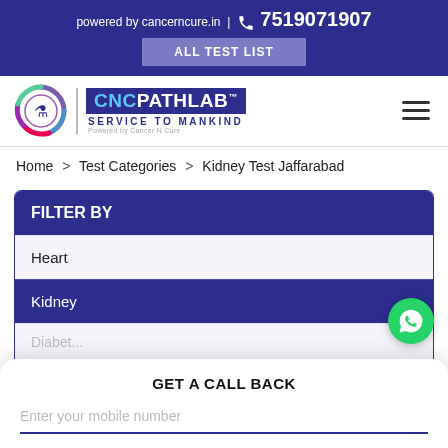powered by cancerncure.in | 7519071907
ALL TEST LIST
[Figure (logo): CNC Pathlab logo with circular emblem and text 'CNC PATHLAB SERVICE TO MANKIND Powered by Cancer N Cure']
Home > Test Categories > Kidney Test Jaffarabad
FILTER BY
Heart
Kidney
Diabet...
GET A CALL BACK
Enter your mobile number